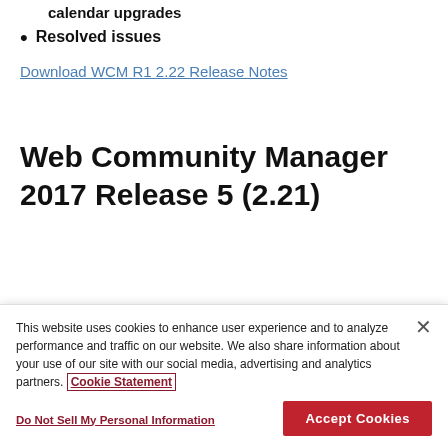calendar upgrades
Resolved issues
Download WCM R1 2.22 Release Notes
Web Community Manager 2017 Release 5 (2.21)
This website uses cookies to enhance user experience and to analyze performance and traffic on our website. We also share information about your use of our site with our social media, advertising and analytics partners. Cookie Statement
Do Not Sell My Personal Information
Accept Cookies